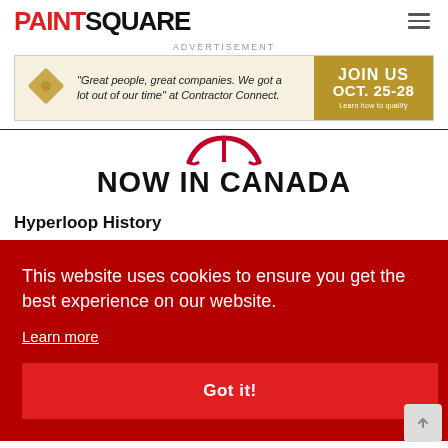PAINTSQUARE
ADVERTISEMENT
[Figure (infographic): Advertisement banner: Great people, great companies. We got a lot out of our time at Contractor Connect. JOIN US OCT. 25-28. Learn how to qualify.]
[Figure (illustration): Canadian maple leaf / ribbon graphic in red above NOW IN CANADA text]
NOW IN CANADA
Hyperloop History
This website uses cookies to ensure you get the best experience on our website. Learn more
Got it!
Build industry